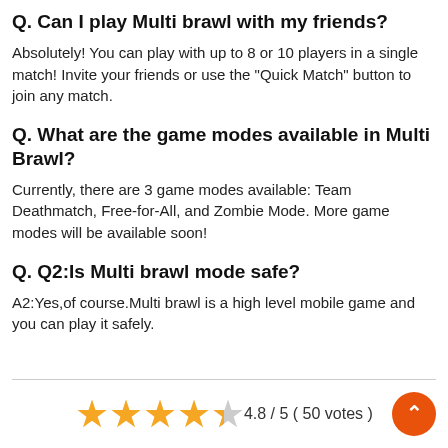Q. Can I play Multi brawl with my friends?
Absolutely! You can play with up to 8 or 10 players in a single match! Invite your friends or use the "Quick Match" button to join any match.
Q. What are the game modes available in Multi Brawl?
Currently, there are 3 game modes available: Team Deathmatch, Free-for-All, and Zombie Mode. More game modes will be available soon!
Q. Q2:Is Multi brawl mode safe?
A2:Yes,of course.Multi brawl is a high level mobile game and you can play it safely.
[Figure (other): Star rating: 4.8 / 5 (50 votes) with 4 full orange stars and 1 half orange/grey star, plus an orange circular scroll-up button.]